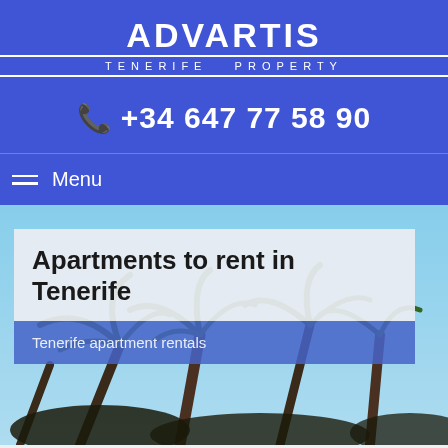[Figure (logo): Advartis Tenerife Property logo in white text on blue background]
+34 647 77 58 90
Menu
[Figure (photo): Palm trees against blue sky background]
Apartments to rent in Tenerife
Tenerife apartment rentals
Apartments to rent in Tenerife, Canary Islands